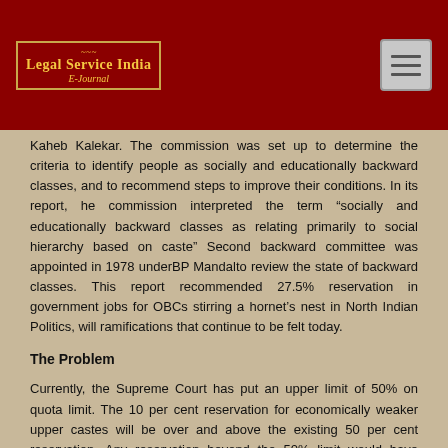Legal Service India E-Journal
Kaheb Kalekar. The commission was set up to determine the criteria to identify people as socially and educationally backward classes, and to recommend steps to improve their conditions. In its report, he commission interpreted the term “socially and educationally backward classes as relating primarily to social hierarchy based on caste” Second backward committee was appointed in 1978 underBP Mandalto review the state of backward classes. This report recommended 27.5% reservation in government jobs for OBCs stirring a hornet’s nest in North Indian Politics, will ramifications that continue to be felt today.
The Problem
Currently, the Supreme Court has put an upper limit of 50% on quota limit. The 10 per cent reservation for economically weaker upper castes will be over and above the existing 50 per cent reservation. Any reservation beyond the 50% limit would have required the government to get a constitutional amendment passed in Parliament. Hence, articles 15 and 16 of the Constitution are amended for implementation of the